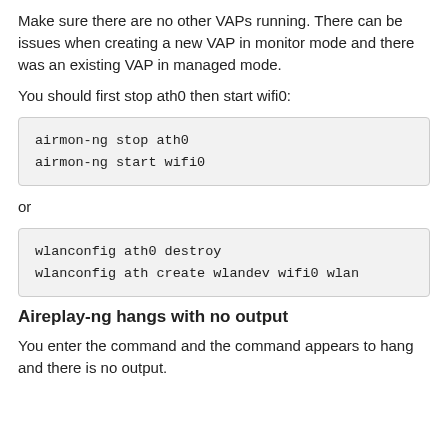Make sure there are no other VAPs running. There can be issues when creating a new VAP in monitor mode and there was an existing VAP in managed mode.
You should first stop ath0 then start wifi0:
airmon-ng stop ath0
airmon-ng start wifi0
or
wlanconfig ath0 destroy
wlanconfig ath create wlandev wifi0 wlan
Aireplay-ng hangs with no output
You enter the command and the command appears to hang and there is no output.